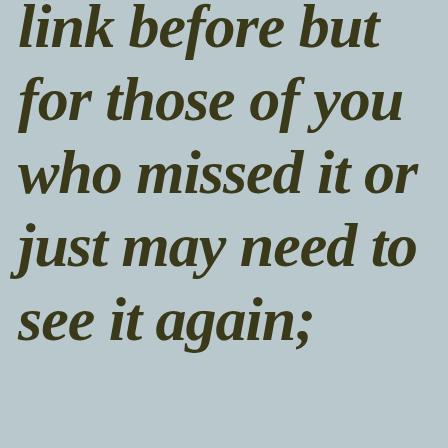link before but for those of you who missed it or just may need to see it again;